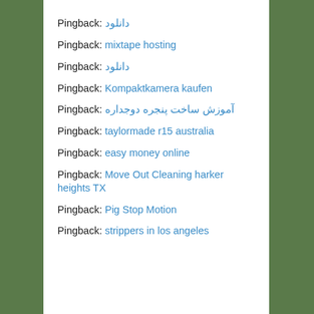Pingback: دانلود
Pingback: mixtape hosting
Pingback: دانلود
Pingback: Kompaktkamera kaufen
Pingback: آموزش ساخت پنجره دوجداره
Pingback: taylormade r15 australia
Pingback: easy money online
Pingback: Move Out Cleaning harker heights TX
Pingback: Pig Stop Motion
Pingback: strippers in los angeles